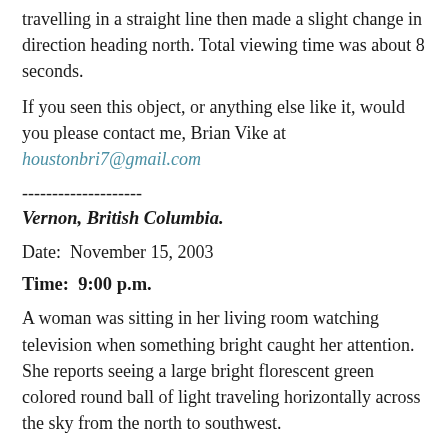travelling in a straight line then made a slight change in direction heading north. Total viewing time was about 8 seconds.
If you seen this object, or anything else like it, would you please contact me, Brian Vike at houstonbri7@gmail.com
--------------------
Vernon, British Columbia.
Date:  November 15, 2003
Time:  9:00 p.m.
A woman was sitting in her living room watching television when something bright caught her attention. She reports seeing a large bright florescent green colored round ball of light traveling horizontally across the sky from the north to southwest.
She reports no tail or trail following the object. She observed the object for about 4 to 5 seconds before she lost sight of it.
There was a low cloud ceiling that evening and the green object